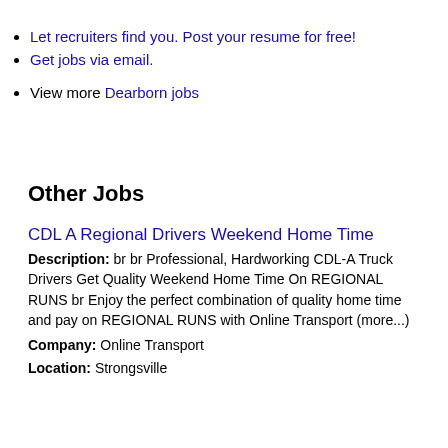Let recruiters find you. Post your resume for free!
Get jobs via email.
View more Dearborn jobs
Other Jobs
CDL A Regional Drivers Weekend Home Time
Description: br br Professional, Hardworking CDL-A Truck Drivers Get Quality Weekend Home Time On REGIONAL RUNS br Enjoy the perfect combination of quality home time and pay on REGIONAL RUNS with Online Transport (more...) Company: Online Transport Location: Strongsville